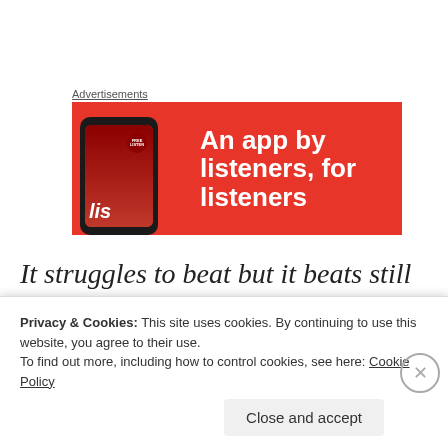Advertisements
[Figure (illustration): Red advertisement banner for a music listening app with the headline 'An app by listeners, for listeners' and a phone showing the app interface on the left side.]
It struggles to beat but it beats still
Struggling to breathe
But it breathes still
Privacy & Cookies: This site uses cookies. By continuing to use this website, you agree to their use.
To find out more, including how to control cookies, see here: Cookie Policy